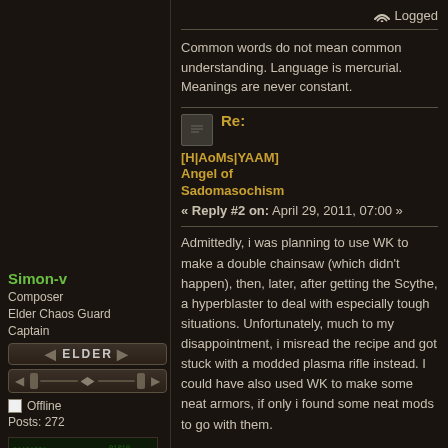Logged
Common words do not mean common understanding. Language is mercurial. Meanings are never constant.
Simon-v
Composer
Elder Chaos Guard
Captain
[Figure (infographic): ELDER rank bar with left/right arrows and pip/diamond bar below]
Offline
Posts: 272
[Figure (photo): Avatar of a person with sunglasses against a green digital background]
Only Human
[Figure (infographic): User profile icons: person icon and globe icon]
Re:
[H|AoMs|YAAM] Angel of Sadomasochism
« Reply #2 on: April 29, 2011, 07:00 »
Admittedly, i was planning to use WK to make a double chainsaw (which didn't happen), then, later, after getting the Scythe, a hyperblaster to deal with especially tough situations. Unfortunately, much to my disappointment, i misread the recipe and got stuck with a modded plasma rifle instead. I could have also used WK to make some neat armors, if only i found some neat mods to go with them.